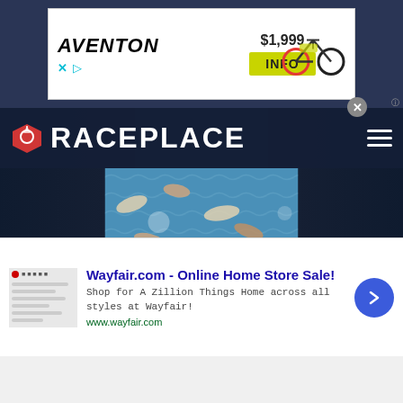[Figure (other): Aventon e-bike advertisement banner showing brand logo, $1,999 price, INFO button, and bike image]
[Figure (logo): RacePlate website navigation header with red medal logo, RACEPLACE text in white, and hamburger menu icon]
[Figure (photo): Open water swimming race photo showing many swimmers in choppy water]
infolinks
[Figure (other): Wayfair.com advertisement: 'Wayfair.com - Online Home Store Sale! Shop for A Zillion Things Home across all styles at Wayfair! www.wayfair.com' with blue arrow button]